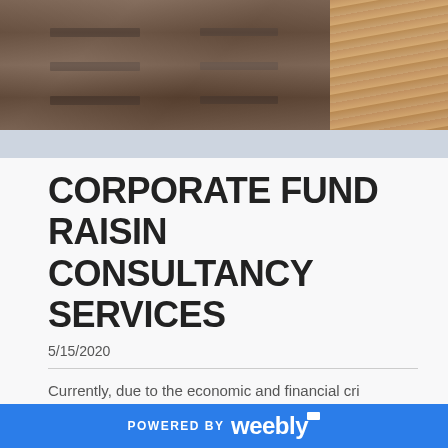[Figure (photo): Hero image showing wooden furniture (drawers with metal handles on left, hardwood floor on right)]
CORPORATE FUND RAISING CONSULTANCY SERVICES
5/15/2020
Currently, due to the economic and financial crisis caused by the pandemic, we have recently shifted focus towards Consultancy Services which is intended to serve Corporate clients with potential Projects. This service also holds good opportunity for one who wants to connect with potential companies, Projects...
POWERED BY weebly